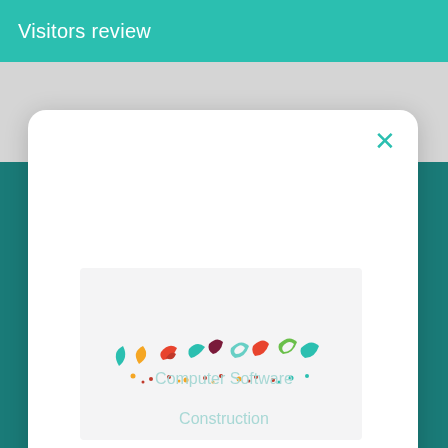Visitors review
[Figure (illustration): Colorful confetti celebration illustration with small curvy shapes in teal, yellow, red, purple, and green colors arranged in a row]
You've just looked through your first company, hurray!
Computer Software
Construction